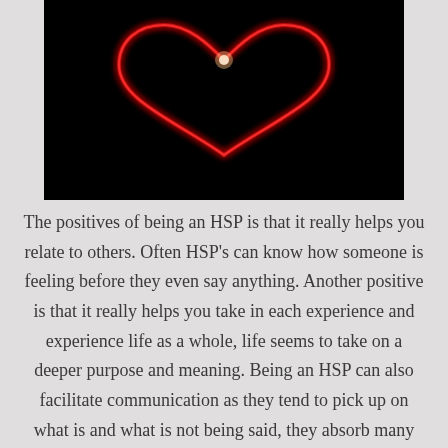[Figure (photo): A glowing red heart shape drawn with light against a black background, with a small bright spot at the top center of the heart.]
The positives of being an HSP is that it really helps you relate to others. Often HSP's can know how someone is feeling before they even say anything. Another positive is that it really helps you take in each experience and experience life as a whole, life seems to take on a deeper purpose and meaning. Being an HSP can also facilitate communication as they tend to pick up on what is and what is not being said, they absorb many non-verbal ques from others.